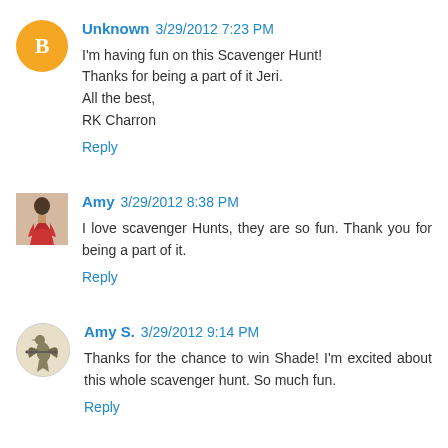Unknown 3/29/2012 7:23 PM
I'm having fun on this Scavenger Hunt!
Thanks for being a part of it Jeri.
All the best,
RK Charron
Reply
Amy 3/29/2012 8:38 PM
I love scavenger Hunts, they are so fun. Thank you for being a part of it.
Reply
Amy S. 3/29/2012 9:14 PM
Thanks for the chance to win Shade! I'm excited about this whole scavenger hunt. So much fun.
Reply